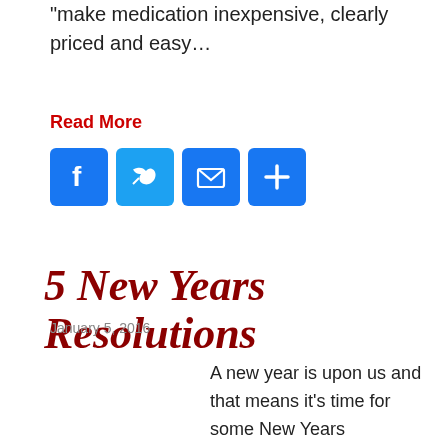“make medication inexpensive, clearly priced and easy…
Read More
[Figure (other): Social sharing icons: Facebook, Twitter, Email, Share (plus sign), all in blue rounded square buttons]
5 New Years Resolutions
January 5, 2016
A new year is upon us and that means it’s time for some New Years Resolutions. Each year, millions of people vow to lose weight, volunteer more, stop